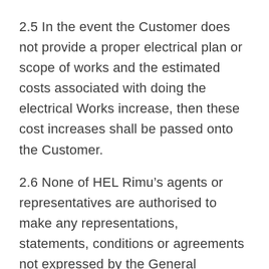2.5 In the event the Customer does not provide a proper electrical plan or scope of works and the estimated costs associated with doing the electrical Works increase, then these cost increases shall be passed onto the Customer.
2.6 None of HEL Rimu’s agents or representatives are authorised to make any representations, statements, conditions or agreements not expressed by the General Manager of HEL Rimu in